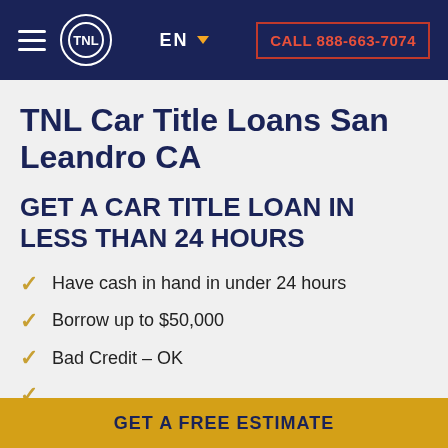EN  CALL 888-663-7074
TNL Car Title Loans San Leandro CA
GET A CAR TITLE LOAN IN LESS THAN 24 HOURS
Have cash in hand in under 24 hours
Borrow up to $50,000
Bad Credit – OK
GET A FREE ESTIMATE